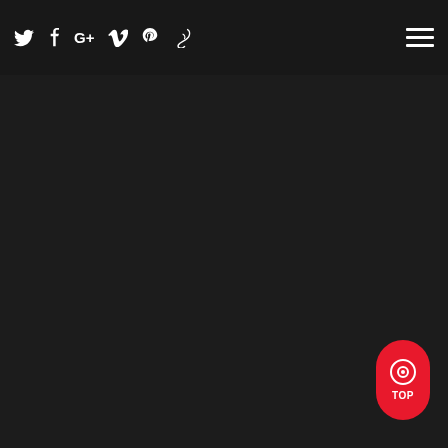Twitter Facebook Google+ Vimeo Pinterest [social icon]
[Figure (screenshot): Dark background website screenshot with social media icons navigation bar at top (Twitter, Facebook, Google+, Vimeo, Pinterest, and a script-style icon), hamburger menu in top right, and a red pill-shaped 'TOP' button with target/record icon in bottom right corner. The main content area is very dark/black with faint barely-visible content.]